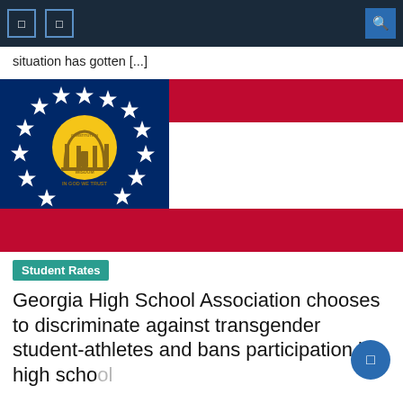situation has gotten [...]
[Figure (photo): Georgia state flag showing blue canton with state seal surrounded by 13 stars and three horizontal stripes (red, white, red)]
Student Rates
Georgia High School Association chooses to discriminate against transgender student-athletes and bans participation in high school sports